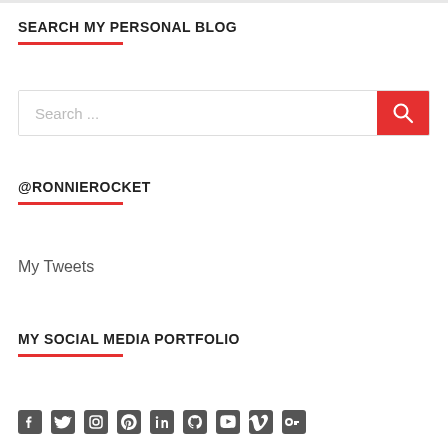SEARCH MY PERSONAL BLOG
[Figure (other): Search bar with red search button containing a magnifying glass icon]
@RONNIEROCKET
My Tweets
MY SOCIAL MEDIA PORTFOLIO
[Figure (other): Row of social media icons]